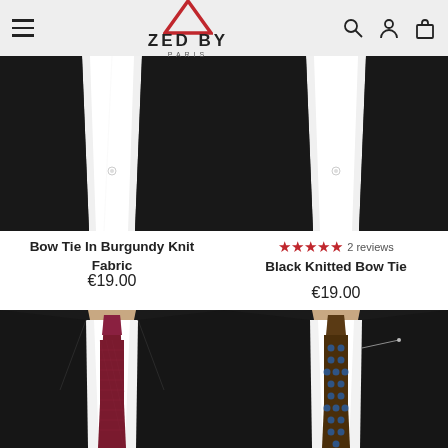ZED BY PARIS
[Figure (photo): Product photo: white dress shirt with bow tie area visible against dark suit jacket, left product]
Bow Tie In Burgundy Knit Fabric
€19.00
[Figure (photo): Product photo: white dress shirt with bow tie area visible against dark suit jacket, right product]
★★★★★ 2 reviews
Black Knitted Bow Tie
€19.00
[Figure (photo): Product photo: mannequin wearing dark suit with burgundy/dark red patterned necktie]
[Figure (photo): Product photo: mannequin wearing dark suit with brown and blue dotted necktie]